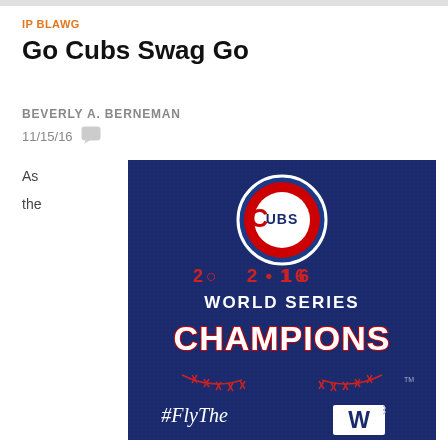IP BLAWG
Go Cubs Swag Go
BEVERLY A. BERNEMAN
11/15/16
As
the
[Figure (illustration): Chicago Cubs 2016 World Series Champions graphic on dark blue background featuring the Cubs circular logo with red C and UBS text, '2016 World Series Champions' text in white and red, baseball stitching graphic, and '#FlyThe W' with a W flag at the bottom.]